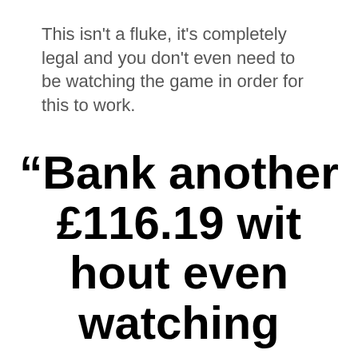This isn't a fluke, it's completely legal and you don't even need to be watching the game in order for this to work.
“Bank another £116.19 without even watching